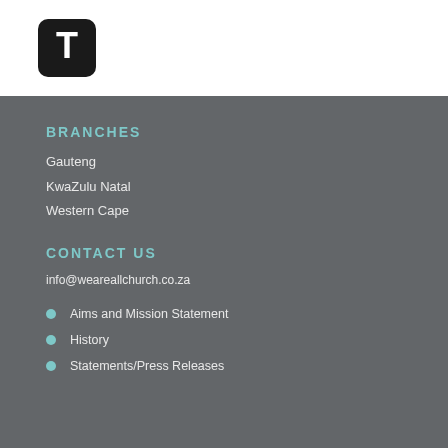[Figure (logo): Black rounded square logo with white letter T inside]
BRANCHES
Gauteng
KwaZulu Natal
Western Cape
CONTACT US
info@weareallchurch.co.za
Aims and Mission Statement
History
Statements/Press Releases